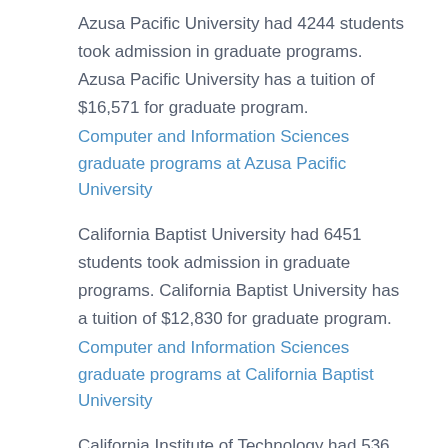Azusa Pacific University had 4244 students took admission in graduate programs. Azusa Pacific University has a tuition of $16,571 for graduate program.
Computer and Information Sciences graduate programs at Azusa Pacific University
California Baptist University had 6451 students took admission in graduate programs. California Baptist University has a tuition of $12,830 for graduate program.
Computer and Information Sciences graduate programs at California Baptist University
California Institute of Technology had 536 students took admission in graduate programs. California Institute of Technology has a tuition of $54,570 for graduate program.
Computer and Information Sciences graduate programs at California Institute of Technology
Which other Best universities in